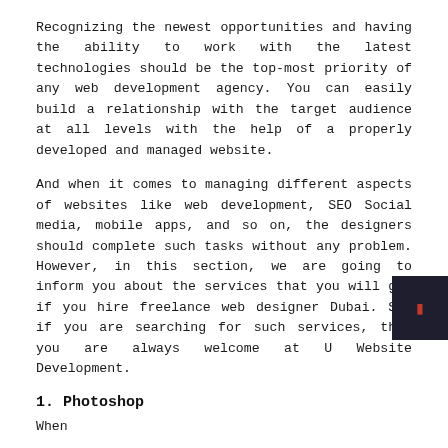Recognizing the newest opportunities and having the ability to work with the latest technologies should be the top-most priority of any web development agency. You can easily build a relationship with the target audience at all levels with the help of a properly developed and managed website.
And when it comes to managing different aspects of websites like web development, SEO Social media, mobile apps, and so on, the designers should complete such tasks without any problem. However, in this section, we are going to inform you about the services that you will get if you hire freelance web designer Dubai. So, if you are searching for such services, then you are always welcome at U Website Development.
1. Photoshop
When...